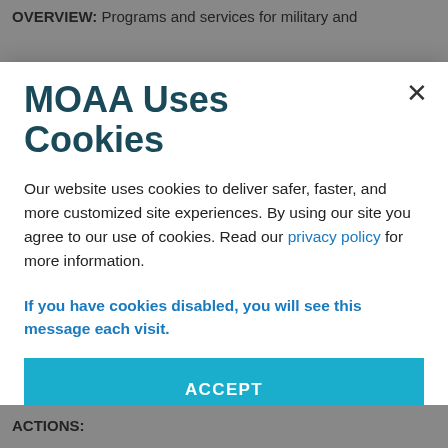OVERVIEW: Programs and services for military and
MOAA Uses Cookies
Our website uses cookies to deliver safer, faster, and more customized site experiences. By using our site you agree to our use of cookies. Read our privacy policy for more information.
If you have cookies disabled, you will see this message each visit.
ACCEPT
ACTIONS: